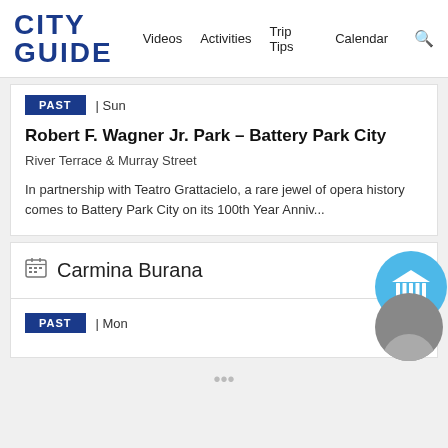CITY GUIDE  Videos  Activities  Trip Tips  Calendar
PAST | Sun
Robert F. Wagner Jr. Park – Battery Park City
River Terrace & Murray Street
In partnership with Teatro Grattacielo, a rare jewel of opera history comes to Battery Park City on its 100th Year Anniv...
Carmina Burana
PAST | Mon